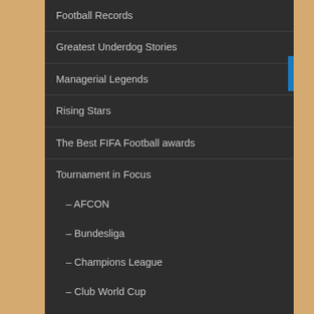Football Records
Greatest Underdog Stories
Managerial Legends
Rising Stars
The Best FIFA Football awards
Tournament in Focus
– AFCON
– Bundesliga
– Champions League
– Club World Cup
– Copa America
– EFL Championship
– English Premier League
– Eredivisie
– FIFA World Cup